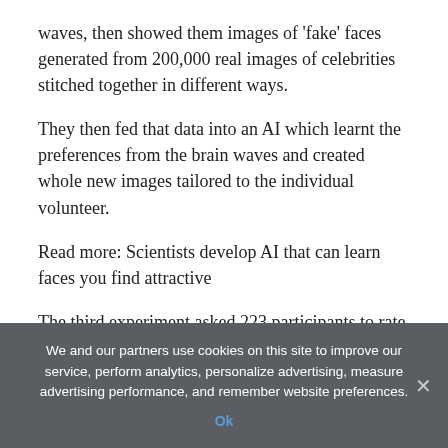waves, then showed them images of 'fake' faces generated from 200,000 real images of celebrities stitched together in different ways.
They then fed that data into an AI which learnt the preferences from the brain waves and created whole new images tailored to the individual volunteer.
Read more: Scientists develop AI that can learn faces you find attractive
The third experiment asked 223 participants to rate the trustworthiness of 128 faces taken the same set of 800 faces on a scale of 1 (very untrustworthy) to 7 (very trustworthy).
The average rating for synthetic faces was 7.7 per cent more
We and our partners use cookies on this site to improve our service, perform analytics, personalize advertising, measure advertising performance, and remember website preferences.